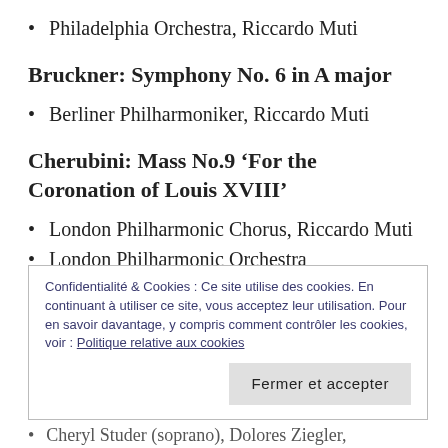Philadelphia Orchestra, Riccardo Muti
Bruckner: Symphony No. 6 in A major
Berliner Philharmoniker, Riccardo Muti
Cherubini: Mass No.9 ‘For the Coronation of Louis XVIII’
London Philharmonic Chorus, Riccardo Muti
London Philharmonic Orchestra
Confidentialité & Cookies : Ce site utilise des cookies. En continuant à utiliser ce site, vous acceptez leur utilisation. Pour en savoir davantage, y compris comment contrôler les cookies, voir : Politique relative aux cookies
Fermer et accepter
Cheryl Studer (soprano), Dolores Ziegler,